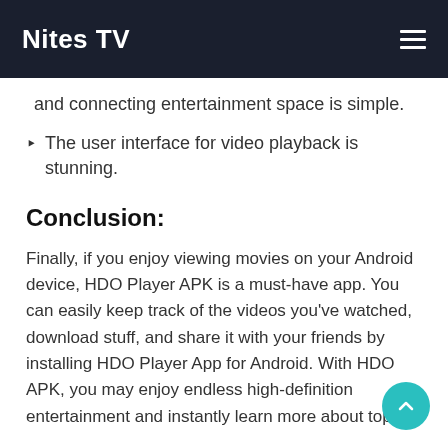Nites TV
and connecting entertainment space is simple.
The user interface for video playback is stunning.
Conclusion:
Finally, if you enjoy viewing movies on your Android device, HDO Player APK is a must-have app. You can easily keep track of the videos you've watched, download stuff, and share it with your friends by installing HDO Player App for Android. With HDO APK, you may enjoy endless high-definition entertainment and instantly learn more about topics.
If you are a gamer then now also, download Haya FF PK Injector